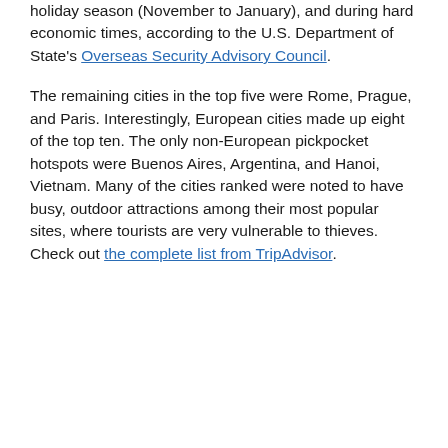holiday season (November to January), and during hard economic times, according to the U.S. Department of State's Overseas Security Advisory Council.
The remaining cities in the top five were Rome, Prague, and Paris. Interestingly, European cities made up eight of the top ten. The only non-European pickpocket hotspots were Buenos Aires, Argentina, and Hanoi, Vietnam. Many of the cities ranked were noted to have busy, outdoor attractions among their most popular sites, where tourists are very vulnerable to thieves. Check out the complete list from TripAdvisor.